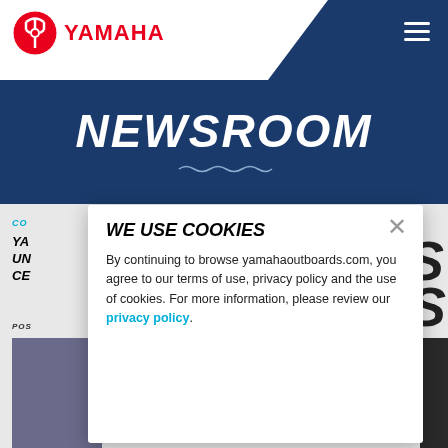YAMAHA
NEWSROOM
CO...
YA...
UN...
CE...
POS...
[Figure (screenshot): Cookie consent modal overlay on Yamaha Outboards newsroom page. Modal shows 'WE USE COOKIES' heading with close button, followed by text: 'By continuing to browse yamahaoutboards.com, you agree to our terms of use, privacy policy and the use of cookies. For more information, please review our privacy policy.']